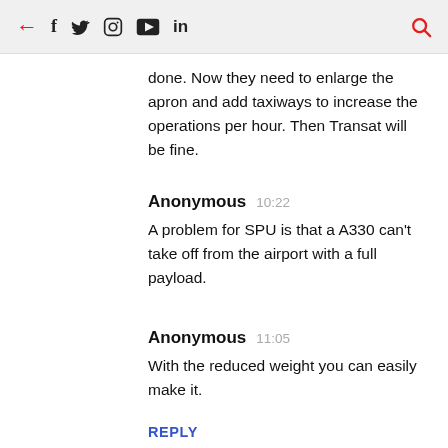← f 𝕏 Instagram YouTube in 🔍
done. Now they need to enlarge the apron and add taxiways to increase the operations per hour. Then Transat will be fine.
Anonymous 10:22
A problem for SPU is that a A330 can't take off from the airport with a full payload.
Anonymous 11:05
With the reduced weight you can easily make it.
REPLY